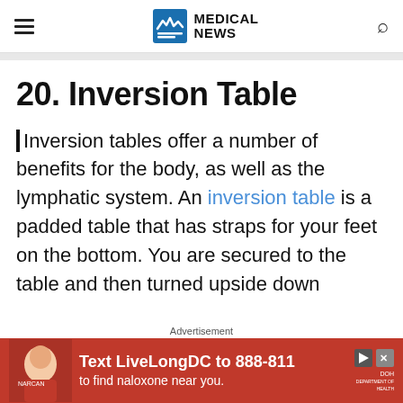MEDICAL NEWS
20. Inversion Table
Inversion tables offer a number of benefits for the body, as well as the lymphatic system. An inversion table is a padded table that has straps for your feet on the bottom. You are secured to the table and then turned upside down
Advertisement
[Figure (other): Red advertisement banner: Text LiveLongDC to 888-811 to find naloxone near you. DOH logo.]